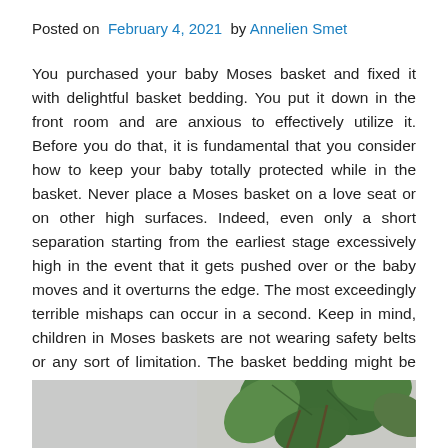Posted on February 4, 2021 by Annelien Smet
You purchased your baby Moses basket and fixed it with delightful basket bedding. You put it down in the front room and are anxious to effectively utilize it. Before you do that, it is fundamental that you consider how to keep your baby totally protected while in the basket. Never place a Moses basket on a love seat or on other high surfaces. Indeed, even only a short separation starting from the earliest stage excessively high in the event that it gets pushed over or the baby moves and it overturns the edge. The most exceedingly terrible mishaps can occur in a second. Keep in mind, children in Moses baskets are not wearing safety belts or any sort of limitation. The basket bedding might be charming, however it will not help a baby if the basket is thumped from a table or seat.
[Figure (photo): Partial view of a photo showing plants with large green leaves against a light background, bottom of article image]